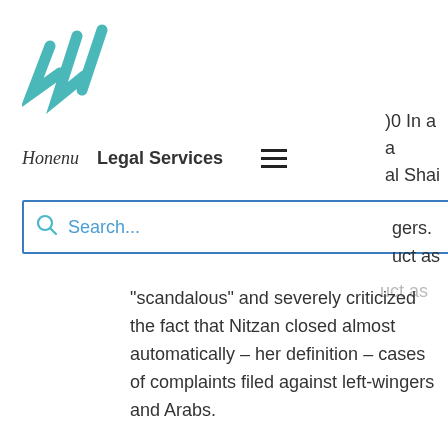[Figure (logo): Teal/blue stylized checkmark or double-slash logo]
Honenu   Legal Services
DO In a a al Shai
Search...
gers. uct as
"scandalous" and severely criticized the fact that Nitzan closed almost automatically – her definition – cases of complaints filed against left-wingers and Arabs.
The case began over three and a half years ago. Uri Baram was detained in January of 2011 after publicizing video clips extremely critical of Shai Nitzan,